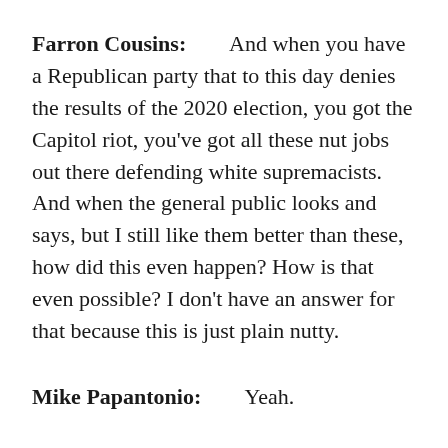Farron Cousins: And when you have a Republican party that to this day denies the results of the 2020 election, you got the Capitol riot, you've got all these nut jobs out there defending white supremacists. And when the general public looks and says, but I still like them better than these, how did this even happen? How is that even possible? I don't have an answer for that because this is just plain nutty.
Mike Papantonio: Yeah.
Farron Cousins: At this point. And I guess it's because Biden had these lofty promises, right? $50,000 student loan debt, I'm gonna take care of that...